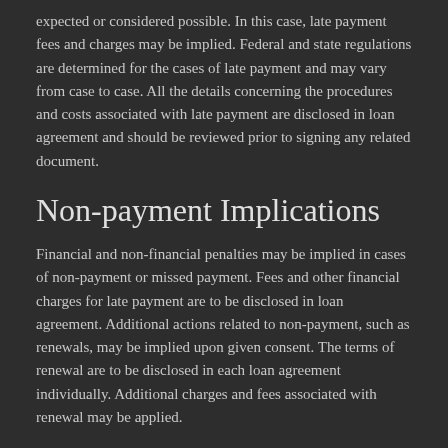expected or considered possible. In this case, late payment fees and charges may be implied. Federal and state regulations are determined for the cases of late payment and may vary from case to case. All the details concerning the procedures and costs associated with late payment are disclosed in loan agreement and should be reviewed prior to signing any related document.
Non-payment Implications
Financial and non-financial penalties may be implied in cases of non-payment or missed payment. Fees and other financial charges for late payment are to be disclosed in loan agreement. Additional actions related to non-payment, such as renewals, may be implied upon given consent. The terms of renewal are to be disclosed in each loan agreement individually. Additional charges and fees associated with renewal may be applied.
Debt collection practices and other related procedures may be performed. All the actions related to these practices are adjusted to Fair Debt Collection Practices Act regulations and other applicable federal and state laws in order to protect consumers from unfair lending and negative borrowing experience. The majority of lenders do not refer to outside collection agencies and attempt to collect